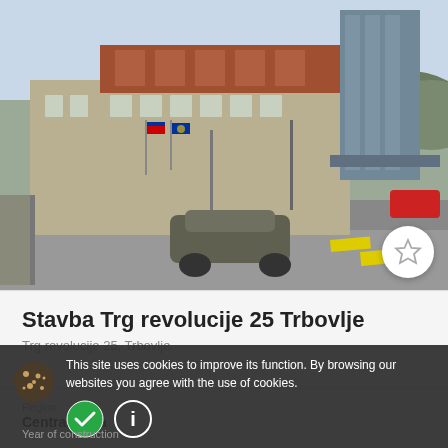[Figure (photo): Street-level photo of Stavba Trg revolucije 25 Trbovlje — a multi-storey government building with Slovenian and EU flags, a modern glass tower in background, a car moving on a road in the foreground]
Stavba Trg revolucije 25 Trbovlje
Trg revolucije 25, Trbovlje
Region
Central Sava
Year of construction
Area
This site uses cookies to improve its function. By browsing our websites you agree with the use of cookies.